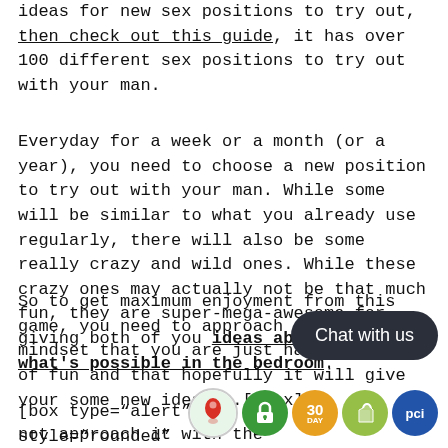ideas for new sex positions to try out, then check out this guide, it has over 100 different sex positions to try out with your man.
Everyday for a week or a month (or a year), you need to choose a new position to try out with your man. While some will be similar to what you already use regularly, there will also be some really crazy and wild ones. While these crazy ones may actually not be that much fun, they are super-mega-awesome for giving both of you ideas about just what's possible in the bedroom.
So to get maximum enjoyment from this game, you need to approach it with the mindset that you are just having a bit of fun and that hopefully it will give your some new ideas...[/box]
[box type="alert" style="rounded" not approach it with the min... looking position is actually th...pleasurably...